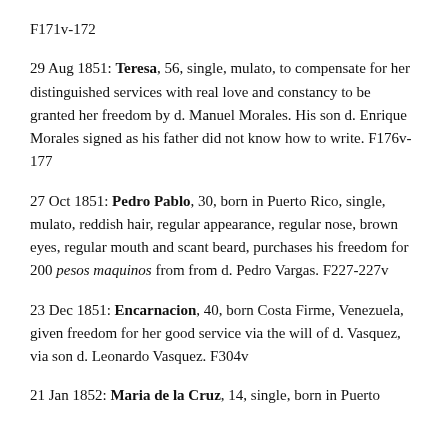F171v-172
29 Aug 1851: Teresa, 56, single, mulato, to compensate for her distinguished services with real love and constancy to be granted her freedom by d. Manuel Morales. His son d. Enrique Morales signed as his father did not know how to write. F176v-177
27 Oct 1851: Pedro Pablo, 30, born in Puerto Rico, single, mulato, reddish hair, regular appearance, regular nose, brown eyes, regular mouth and scant beard, purchases his freedom for 200 pesos maquinos from from d. Pedro Vargas. F227-227v
23 Dec 1851: Encarnacion, 40, born Costa Firme, Venezuela, given freedom for her good service via the will of d. Vasquez, via son d. Leonardo Vasquez. F304v
21 Jan 1852: Maria de la Cruz, 14, single, born in Puerto...